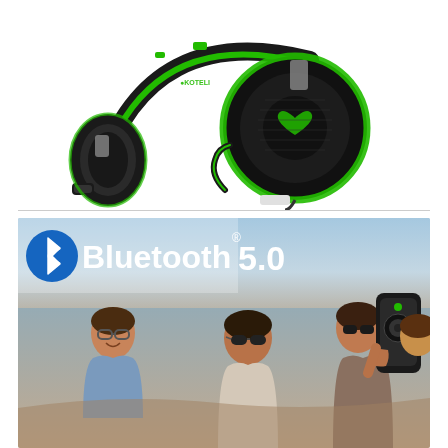[Figure (photo): Black and green gaming headset with LED ring light on ear cup and flexible boom microphone, photographed on white background]
[Figure (photo): Bluetooth 5.0 promotional image showing a group of young people outdoors with a Bluetooth speaker, with the Bluetooth logo and '5.0' text overlay in the upper left]